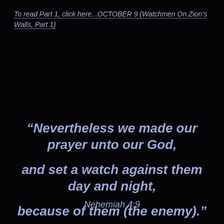To read Part 1, click here...OCTOBER 9 (Watchmen On Zion's Walls, Part 1)
“Nevertheless we made our prayer unto our God, and set a watch against them day and night, because of them (the enemy).”
Nehemiah 4:9